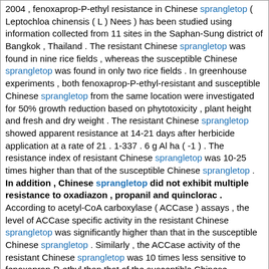2004 , fenoxaprop-P-ethyl resistance in Chinese sprangletop ( Leptochloa chinensis ( L ) Nees ) has been studied using information collected from 11 sites in the Saphan-Sung district of Bangkok , Thailand . The resistant Chinese sprangletop was found in nine rice fields , whereas the susceptible Chinese sprangletop was found in only two rice fields . In greenhouse experiments , both fenoxaprop-P-ethyl-resistant and susceptible Chinese sprangletop from the same location were investigated for 50% growth reduction based on phytotoxicity , plant height and fresh and dry weight . The resistant Chinese sprangletop showed apparent resistance at 14-21 days after herbicide application at a rate of 21 . 1-337 . 6 g Al ha ( -1 ) . The resistance index of resistant Chinese sprangletop was 10-25 times higher than that of the susceptible Chinese sprangletop . In addition , Chinese sprangletop did not exhibit multiple resistance to oxadiazon , propanil and quinclorac . According to acetyl-CoA carboxylase ( ACCase ) assays , the level of ACCase specific activity in the resistant Chinese sprangletop was significantly higher than that in the susceptible Chinese sprangletop . Similarly , the ACCase activity of the resistant Chinese sprangletop was 10 times less sensitive to fenoxaprop-P-ethyl than that of the susceptible Chinese sprangletop , based on the I50 values . The present study of the mechanism responsible for resistance in the biotypes investigated indicated that there was a close association between the concentration-response at the whole-plant level and ACCase sensitivity to fenoxaprop-P-ethyl , and resistance to fenoxaprop-P-ethyl was conferred by a modified ACCase at the target site , as suggested by higher specific activity and less sensitivity to the herbicide .
Score: 9.00
Title: Field study on exposure and health effects of an organophosphate pesticide for maintaining registration in the Philippines .